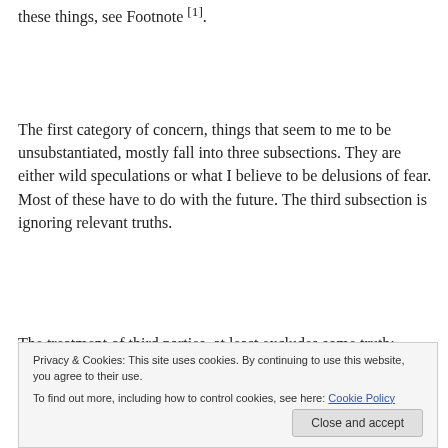these things, see Footnote [1].
The first category of concern, things that seem to me to be unsubstantiated, mostly fall into three subsections.  They are either wild speculations or what I believe to be delusions of fear.  Most of these have to do with the future.  The third subsection is ignoring relevant truths.
The treatment of third parties, at least excludes some truth:
truth of history, that parties have fallen and risen[*],